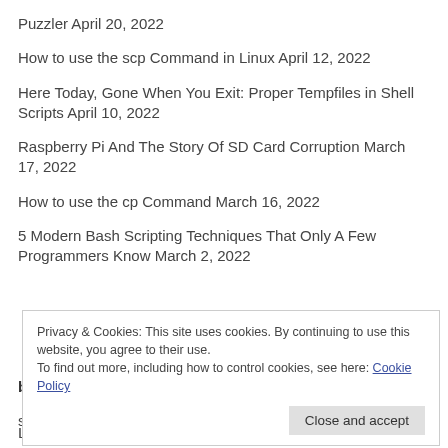Puzzler April 20, 2022
How to use the scp Command in Linux April 12, 2022
Here Today, Gone When You Exit: Proper Tempfiles in Shell Scripts April 10, 2022
Raspberry Pi And The Story Of SD Card Corruption March 17, 2022
How to use the cp Command March 16, 2022
5 Modern Bash Scripting Techniques That Only A Few Programmers Know March 2, 2022
Privacy & Cookies: This site uses cookies. By continuing to use this website, you agree to their use.
To find out more, including how to control cookies, see here: Cookie Policy
Close and accept
Linux command line